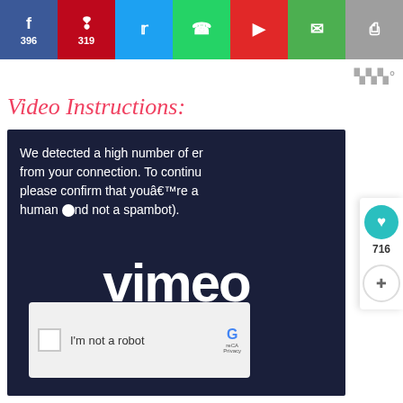[Figure (screenshot): Social share bar with Facebook (396), Pinterest (319), Twitter, WhatsApp, Flipboard, Email, and Print buttons]
[Figure (logo): Mailchimp-style logo watermark top right: 'W°' in grey]
Video Instructions:
[Figure (screenshot): Vimeo video embed showing CAPTCHA error: 'We detected a high number of errors from your connection. To continue please confirm that you’re a human (and not a spambot).' with Vimeo logo and reCAPTCHA 'I'm not a robot' checkbox overlay]
[Figure (screenshot): Right side floating action panel with teal heart button and share button, count 716]